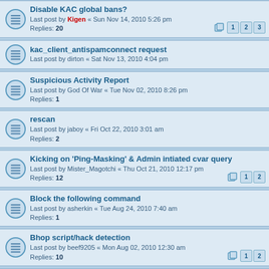Disable KAC global bans? - Last post by Kigen « Sun Nov 14, 2010 5:26 pm - Replies: 20 - Pages: 1 2 3
kac_client_antispamconnect request - Last post by dirton « Sat Nov 13, 2010 4:04 pm
Suspicious Activity Report - Last post by God Of War « Tue Nov 02, 2010 8:26 pm - Replies: 1
rescan - Last post by jaboy « Fri Oct 22, 2010 3:01 am - Replies: 2
Kicking on 'Ping-Masking' & Admin intiated cvar query - Last post by Mister_Magotchi « Thu Oct 21, 2010 12:17 pm - Replies: 12 - Pages: 1 2
Block the following command - Last post by asherkin « Tue Aug 24, 2010 7:40 am - Replies: 1
Bhop script/hack detection - Last post by beef9205 « Mon Aug 02, 2010 12:30 am - Replies: 10 - Pages: 1 2
Whitelist? - Last post by CTS_AE « Sun Aug 01, 2010 6:10 am
Search bans - Last post by twozcar « Wed Jul 28, 2010 7:58 am - Replies: 2